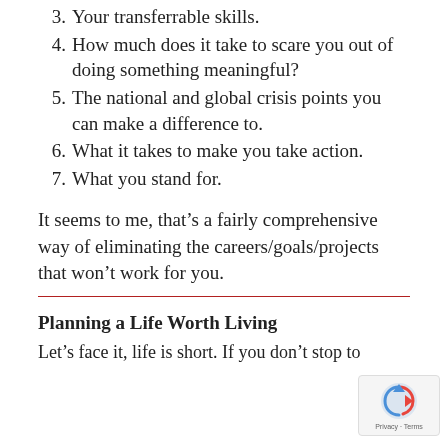3. Your transferrable skills.
4. How much does it take to scare you out of doing something meaningful?
5. The national and global crisis points you can make a difference to.
6. What it takes to make you take action.
7. What you stand for.
It seems to me, that’s a fairly comprehensive way of eliminating the careers/goals/projects that won’t work for you.
Planning a Life Worth Living
Let’s face it, life is short. If you don’t stop to